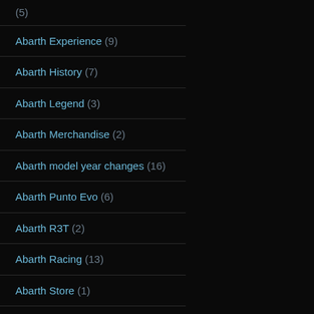(5)
Abarth Experience (9)
Abarth History (7)
Abarth Legend (3)
Abarth Merchandise (2)
Abarth model year changes (16)
Abarth Punto Evo (6)
Abarth R3T (2)
Abarth Racing (13)
Abarth Store (1)
Abarth Video (26)
abarthpower.com (11)
Accessories (22)
alfa (13)